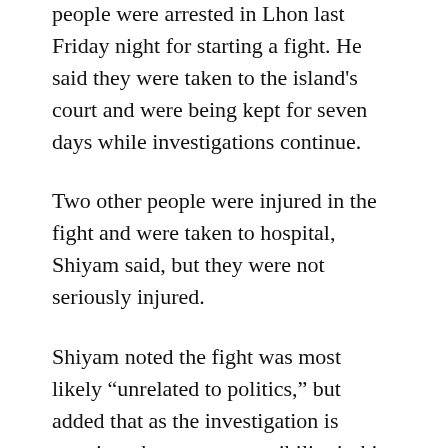people were arrested in Lhon last Friday night for starting a fight. He said they were taken to the island's court and were being kept for seven days while investigations continue.
Two other people were injured in the fight and were taken to hospital, Shiyam said, but they were not seriously injured.
Shiyam noted the fight was most likely “unrelated to politics,” but added that as the investigation is ongoing, there was a possibility it this might prove otherwise.
Spokesperson for the DRP Ibrahim Shareef said “the island councillor planned all of this.”
He said “the boys who were arrested weren’t even on the island” but were attending a DRP rally in Mhollen. “The boys were attending a DRP event in…